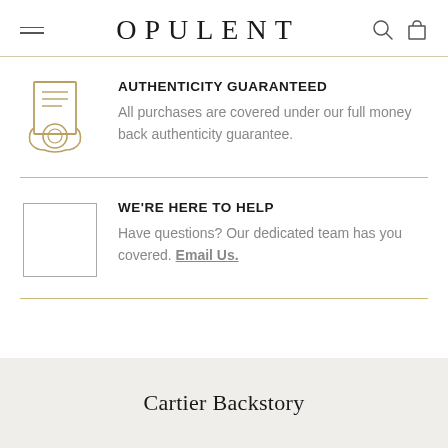OPULENT
AUTHENTICITY GUARANTEED
All purchases are covered under our full money back authenticity guarantee.
WE'RE HERE TO HELP
Have questions? Our dedicated team has you covered. Email Us.
Cartier Backstory